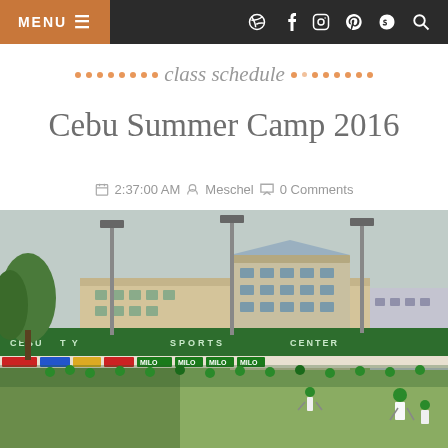MENU | navigation icons (dribbble, facebook, instagram, pinterest, skype, search)
class schedule
Cebu Summer Camp 2016
2:37:00 AM   Meschel   0 Comments
[Figure (photo): Outdoor sports field at Cebu City Sports Center with children wearing green shirts participating in a summer camp event. Stadium grandstand and tall light towers visible in background, with Milo-branded banners along the fence.]